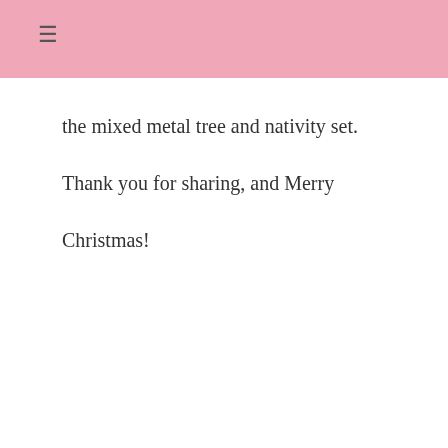≡
the mixed metal tree and nativity set.

Thank you for sharing, and Merry

Christmas!
Reply
[Figure (illustration): Gray placeholder avatar icon with a silhouette of a person]
Stacey says
December 14, 2014 at 10:05 am